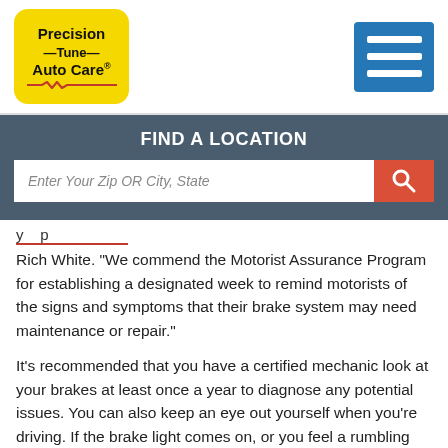[Figure (logo): Precision Tune Auto Care logo — yellow rounded rectangle with company name and red heartbeat line]
[Figure (other): Blue hamburger menu icon with three white horizontal bars]
FIND A LOCATION
Enter Your Zip OR City, State
Rich White. "We commend the Motorist Assurance Program for establishing a designated week to remind motorists of the signs and symptoms that their brake system may need maintenance or repair."
It's recommended that you have a certified mechanic look at your brakes at least once a year to diagnose any potential issues. You can also keep an eye out yourself when you're driving. If the brake light comes on, or you feel a rumbling when you press down on the brakes, you should take your car in for service immediately. Other warning signs include squealing or the car pulling to the left